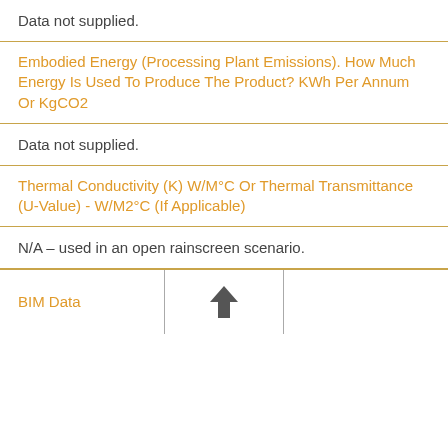Data not supplied.
Embodied Energy (Processing Plant Emissions). How Much Energy Is Used To Produce The Product? KWh Per Annum Or KgCO2
Data not supplied.
Thermal Conductivity (K) W/M°C Or Thermal Transmittance (U-Value) - W/M2°C (If Applicable)
N/A – used in an open rainscreen scenario.
BIM Data